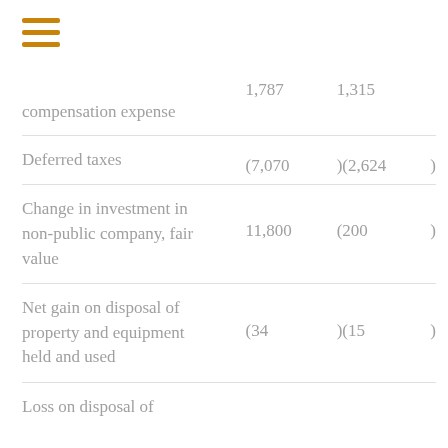[Figure (other): Hamburger menu icon with three orange horizontal lines]
|  | Col1 | Col2 |  |
| --- | --- | --- | --- |
|  | 1,787 | 1,315 |  |
| compensation expense |  |  |  |
| Deferred taxes | (7,070 | )(2,624 | ) |
| Change in investment in non-public company, fair value | 11,800 | (200 | ) |
| Net gain on disposal of property and equipment held and used | (34 | )(15 | ) |
| Loss on disposal of |  |  |  |